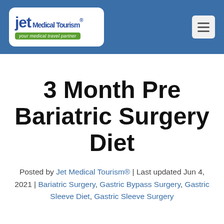Jet Medical Tourism® — your medical travel partner
3 Month Pre Bariatric Surgery Diet
Posted by Jet Medical Tourism® | Last updated Jun 4, 2021 | Bariatric Surgery, Gastric Bypass Surgery, Gastric Sleeve Diet, Gastric Sleeve Surgery